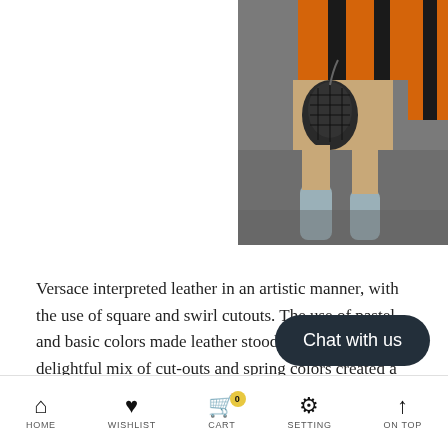[Figure (photo): Fashion runway photo showing a model's legs in gray-blue boots, wearing a striped orange-black outfit, holding a dark quilted leather handbag on a gray runway.]
Versace interpreted leather in an artistic manner, with the use of square and swirl cutouts. The use of pastel and basic colors made leather stood out really well. The delightful mix of cut-outs and spring colors created a spunky yet refreshingly light collection.
HOME   WISHLIST   CART   SETTING   ON TOP